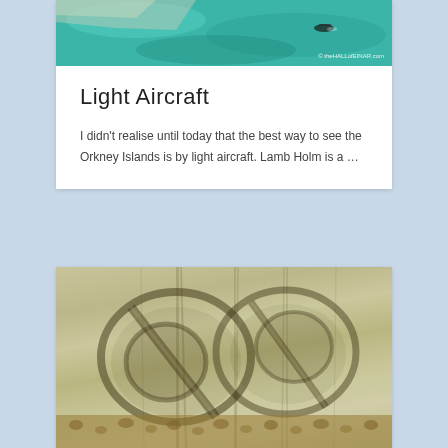[Figure (photo): Aerial view of Orkney Islands coastline with teal-green water and a boat visible, watermark reading © theHALLofEINAR.com]
Light Aircraft
I didn't realise until today that the best way to see the Orkney Islands is by light aircraft. Lamb Holm is a …
[Figure (photo): Close-up of a wooden carving showing two eye-like shapes carved into weathered pale wood, with gravel visible at the bottom]